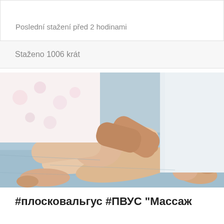Poslední stažení před 2 hodinami
Staženo 1006 krát
[Figure (photo): A child lying on a bed with blue sheets, receiving a leg massage from a person in a white coat. The child is wearing a floral top and the massager's hands are working on the child's lower leg and knee area.]
#плосковальгус #ПВУС "Массаж